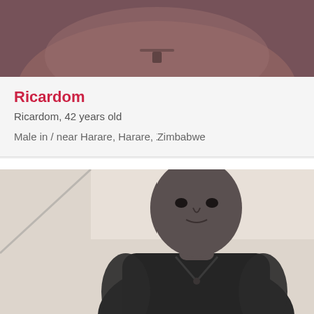[Figure (photo): Cropped top portion of a person's face and upper body, wearing a dark/mauve colored top, close-up view, color photo]
Ricardom
Ricardom, 42 years old
Male in / near Harare, Harare, Zimbabwe
[Figure (photo): Black and white photo of a muscular man in a dark t-shirt, looking directly at camera, upper body visible, outdoor setting]